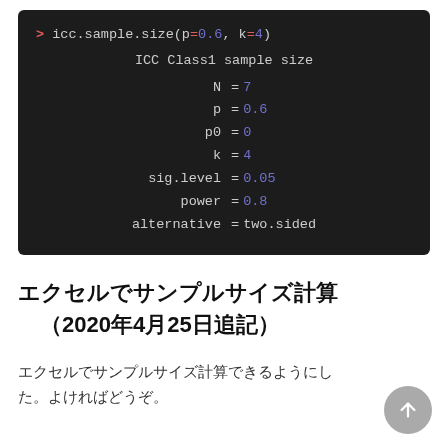[Figure (screenshot): Code block showing R console output: icc.sample.size(p=0.6, k=4) with ICC Class1 sample size results: N=7, p=0.6, p0=0, k=4, sig.level=0.05, power=0.8, alternative=two.sided]
エクセルでサンプルサイズ計算（2020年4月25日追記）
エクセルでサンプルサイズ計算できるようにした。よければどうぞ。